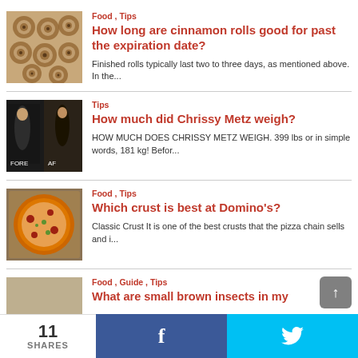[Figure (photo): Cinnamon rolls from above, swirled buns]
Food , Tips
How long are cinnamon rolls good for past the expiration date?
Finished rolls typically last two to three days, as mentioned above. In the...
[Figure (photo): Chrissy Metz at event, before and after photo]
Tips
How much did Chrissy Metz weigh?
HOW MUCH DOES CHRISSY METZ WEIGH. 399 lbs or in simple words, 181 kg! Befor...
[Figure (photo): Pizza in a box, Domino's style]
Food , Tips
Which crust is best at Domino's?
Classic Crust It is one of the best crusts that the pizza chain sells and i...
[Figure (photo): Brown insects on a surface]
Food , Guide , Tips
What are small brown insects in my
11
SHARES